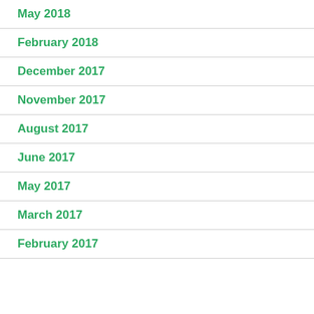May 2018
February 2018
December 2017
November 2017
August 2017
June 2017
May 2017
March 2017
February 2017